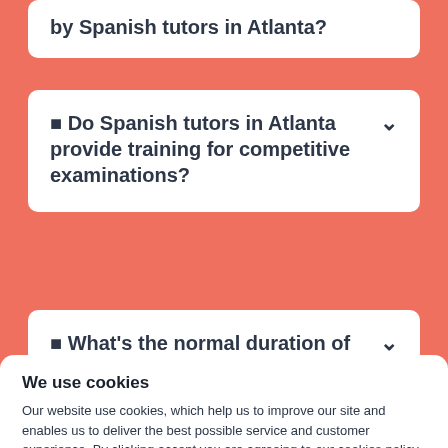by Spanish tutors in Atlanta?
☐ Do Spanish tutors in Atlanta provide training for competitive examinations?
☐ What's the normal duration of tuition classes hosted by Spanish
We use cookies
Our website use cookies, which help us to improve our site and enables us to deliver the best possible service and customer experience. By clicking accept you are agreeing to our cookies policy. Find out more
Accept